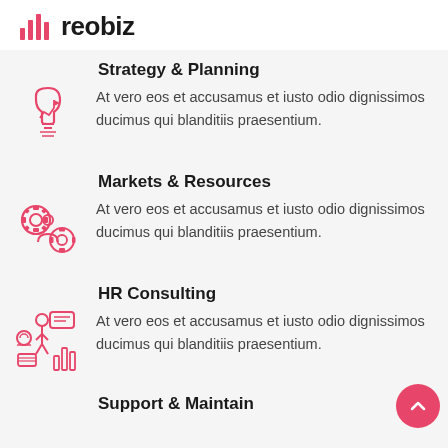reobiz
Strategy & Planning
[Figure (illustration): Red outline icon of a lightbulb with a chart and flag inside]
At vero eos et accusamus et iusto odio dignissimos ducimus qui blanditiis praesentium.
Markets & Resources
[Figure (illustration): Red outline icon of gears with a person figure in the center]
At vero eos et accusamus et iusto odio dignissimos ducimus qui blanditiis praesentium.
HR Consulting
[Figure (illustration): Red outline icon of a person with analytics bubbles and chart]
At vero eos et accusamus et iusto odio dignissimos ducimus qui blanditiis praesentium.
Support & Maintain